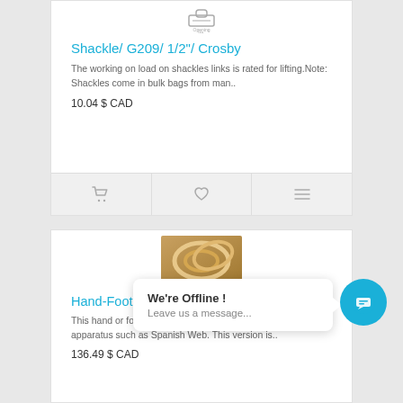[Figure (illustration): Small product icon for shackle at top of card]
Shackle/ G209/ 1/2"/ Crosby
The working on load on shackles links is rated for lifting.Note: Shackles come in bulk bags from man..
10.04 $ CAD
[Figure (illustration): Product card action bar with cart, heart, and compare icons]
[Figure (photo): Partial product image for Hand-Foot Loop showing white cotton loops]
[Figure (screenshot): Chat widget popup: 'We're Offline! Leave us a message...' with blue chat button]
Hand-Foot Loop/ Cotton Cover/ White/ 16"
This hand or foot loop may be used with an acrobatic apparatus such as Spanish Web. This version is..
136.49 $ CAD